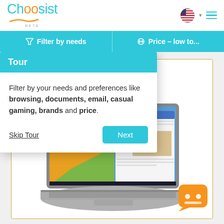Choosist BETA
Filter by needs | Price - low to...
Tour
Filter by your needs and preferences like browsing, documents, email, casual gaming, brands and price.
Skip Tour
Next
Top Rated Lenovo Laptop... For Video Editing Under $2,000
[Figure (screenshot): Lenovo laptop product page screenshot showing a laptop with open lid displaying a colorful desktop wallpaper and browser window]